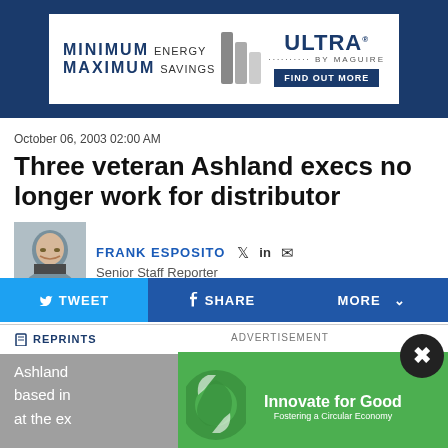[Figure (other): Advertisement banner: MINIMUM ENERGY MAXIMUM SAVINGS - ULTRA BY MAGUIRE - FIND OUT MORE, with product image icons]
October 06, 2003 02:00 AM
Three veteran Ashland execs no longer work for distributor
FRANK ESPOSITO  Senior Staff Reporter
[Figure (photo): Headshot photo of Frank Esposito, Senior Staff Reporter, man with glasses in suit]
TWEET  SHARE  MORE
REPRINTS
ADVERTISEMENT
Ashland [distributor based in] changes at the ex[ecutive level]
[Figure (other): Inline advertisement: Innovate for Good - Fostering a Circular Economy (green recycling image) | DuPont logo - Learn more button]